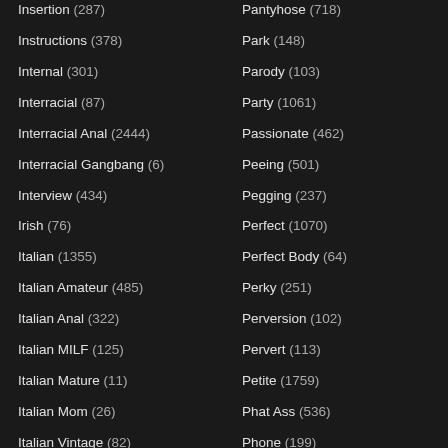Insertion (287)
Pantyhose (718)
Instructions (378)
Park (148)
Internal (301)
Parody (103)
Interracial (87)
Party (1061)
Interracial Anal (2444)
Passionate (462)
Interracial Gangbang (6)
Peeing (501)
Interview (434)
Pegging (237)
Irish (76)
Perfect (1070)
Italian (1355)
Perfect Body (64)
Italian Amateur (485)
Perky (251)
Italian Anal (322)
Perversion (102)
Italian MILF (125)
Pervert (113)
Italian Mature (11)
Petite (1759)
Italian Mom (26)
Phat Ass (536)
Italian Vintage (82)
Phone (199)
JAV (402)
Photoshoot (115)